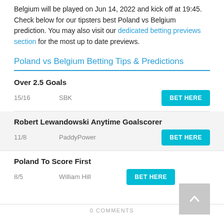Belgium will be played on Jun 14, 2022 and kick off at 19:45. Check below for our tipsters best Poland vs Belgium prediction. You may also visit our dedicated betting previews section for the most up to date previews.
Poland vs Belgium Betting Tips & Predictions
Over 2.5 Goals
15/16   SBK   BET HERE
Robert Lewandowski Anytime Goalscorer
11/8   PaddyPower   BET HERE
Poland To Score First
8/5   William Hill   BET HERE
0 COMMENTS